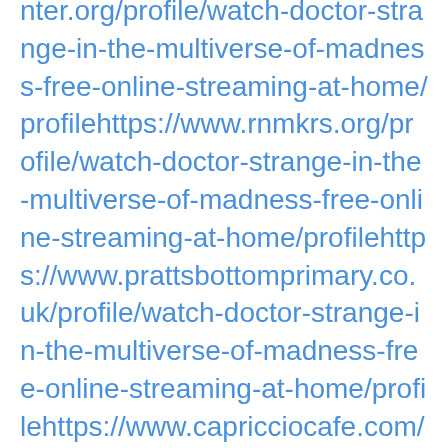nter.org/profile/watch-doctor-strange-in-the-multiverse-of-madness-free-online-streaming-at-home/profilehttps://www.rnmkrs.org/profile/watch-doctor-strange-in-the-multiverse-of-madness-free-online-streaming-at-home/profilehttps://www.prattsbottomprimary.co.uk/profile/watch-doctor-strange-in-the-multiverse-of-madness-free-online-streaming-at-home/profilehttps://www.capricciocafe.com/profile/watch-doctor-strange-in-the-multiverse-of-madness-free-online-streaming-at-home/profilehttps://www.portlandctschools.org/profile/watch-doctor-strange-in-the-multiverse-of-madness-free-online-streaming-at-home/profilehttps://www.brandstorytelling.tv/profile/watch-doctor-strange-in-the-multiverse-of-madness-free-online-streaming-at-